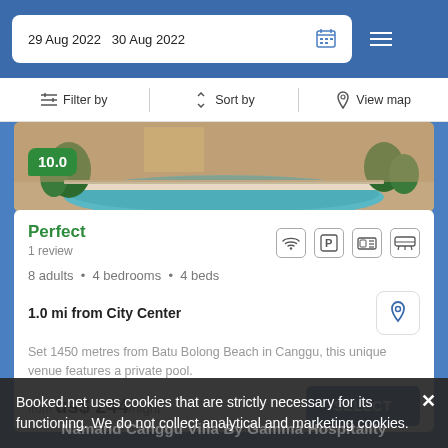29 Aug 2022  30 Aug 2022
Filter by  Sort by  View map
[Figure (photo): Hotel/villa outdoor pool area with tropical plants and terrace]
10.0
Perfect
1 review
8 adults • 4 bedrooms • 4 beds
1.0 mi from City Center
Set 1450 metres from Batu Bolong Beach in Canggu, this unique venue features a private pool.
from us$ 244/night
SELECT
Booked.net uses cookies that are strictly necessary for its functioning. We do not collect analytical and marketing cookies.
Namand Canggu Villa By Gamma Hospitality